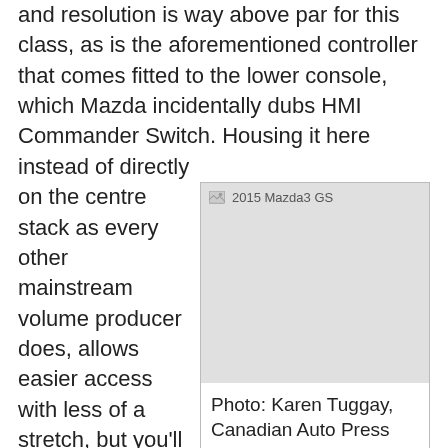and resolution is way above par for this class, as is the aforementioned controller that comes fitted to the lower console, which Mazda incidentally dubs HMI Commander Switch. Housing it here instead of directly on the centre stack as every other mainstream volume producer does, allows easier access with less of a stretch, but you'll want to take some time to get used to where all of its various buttons are so you won't have to take your eyes off the road to make adjustments. Mazda incorporates audio controls on the steering wheel spokes so that you don't need to use the classic volume knob next to the large BMW iDrive-style rotating infotainment controller, but being a bit old-school I found myself
[Figure (photo): Photo of 2015 Mazda3 GS, image not loaded (broken image placeholder shown)]
Photo: Karen Tuggay, Canadian Auto Press